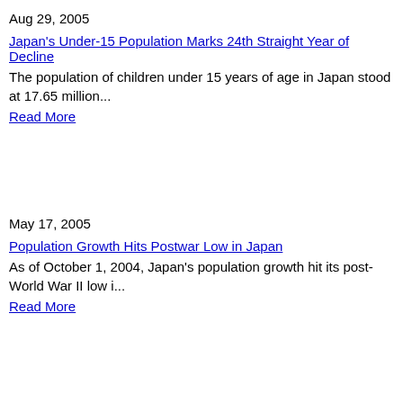Aug 29, 2005
Japan's Under-15 Population Marks 24th Straight Year of Decline
The population of children under 15 years of age in Japan stood at 17.65 million...
Read More
May 17, 2005
Population Growth Hits Postwar Low in Japan
As of October 1, 2004, Japan's population growth hit its post-World War II low i...
Read More